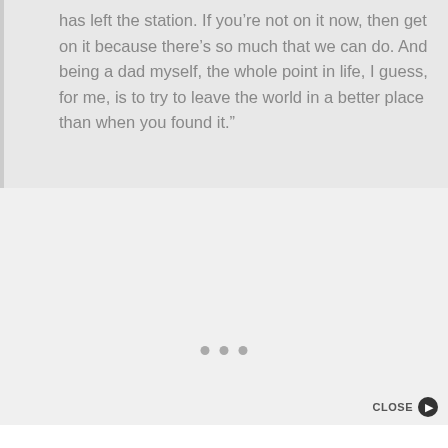has left the station. If you’re not on it now, then get on it because there’s so much that we can do. And being a dad myself, the whole point in life, I guess, for me, is to try to leave the world in a better place than when you found it.”
[Figure (other): Three small grey dots (pagination/carousel indicator) centered on the page]
[Figure (other): Close button with dark circle arrow icon and CLOSE label in bottom right]